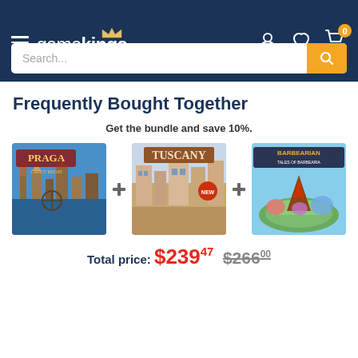gamekings
Frequently Bought Together
Get the bundle and save 10%.
[Figure (screenshot): Praga Caput Regni board game box cover]
[Figure (screenshot): Tuscany board game box cover]
[Figure (screenshot): BarBearian Battlegrounds board game box cover]
Total price: $239.47 $266.00